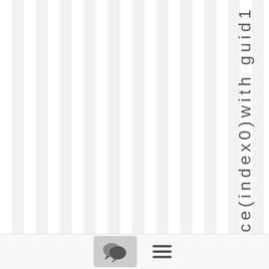[Figure (other): Vertical striped background pattern with alternating light gray and white columns]
ce(index0)with guid1
[Figure (other): Chat/comment bubble icon button (gray rounded rectangle) and hamburger menu icon (three horizontal lines)]